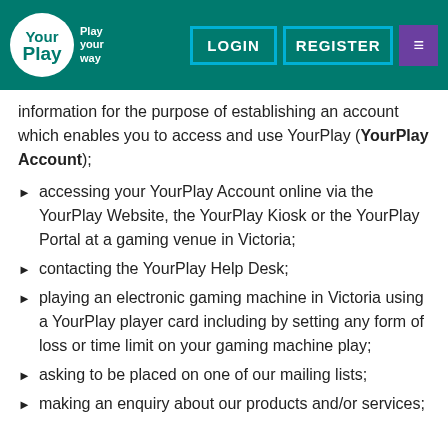YourPlay – Play your way | LOGIN | REGISTER
information for the purpose of establishing an account which enables you to access and use YourPlay (YourPlay Account);
accessing your YourPlay Account online via the YourPlay Website, the YourPlay Kiosk or the YourPlay Portal at a gaming venue in Victoria;
contacting the YourPlay Help Desk;
playing an electronic gaming machine in Victoria using a YourPlay player card including by setting any form of loss or time limit on your gaming machine play;
asking to be placed on one of our mailing lists;
making an enquiry about our products and/or services;